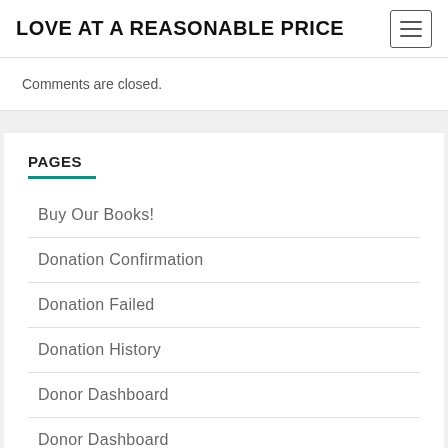LOVE AT A REASONABLE PRICE
Comments are closed.
PAGES
Buy Our Books!
Donation Confirmation
Donation Failed
Donation History
Donor Dashboard
Donor Dashboard